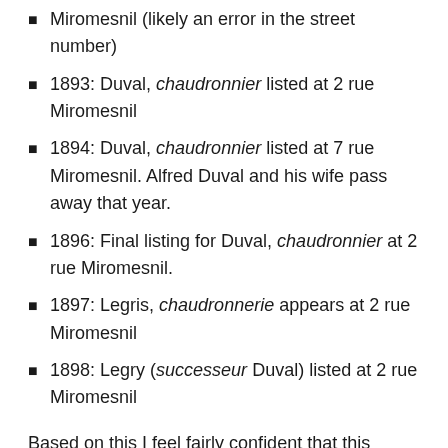Miromesnil (likely an error in the street number)
1893: Duval, chaudronnier listed at 2 rue Miromesnil
1894: Duval, chaudronnier listed at 7 rue Miromesnil. Alfred Duval and his wife pass away that year.
1896: Final listing for Duval, chaudronnier at 2 rue Miromesnil.
1897: Legris, chaudronnerie appears at 2 rue Miromesnil
1898: Legry (successeur Duval) listed at 2 rue Miromesnil
Based on this I feel fairly confident that this daubière is from 1896 or earlier. It's gone through several retinnings and polishings that have softened the hammered finish to a subtle undulation. Still, that texture is enough to catch